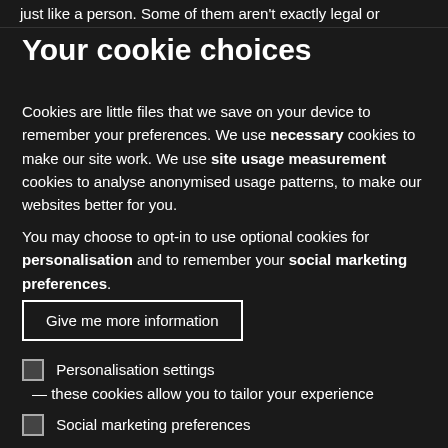just like a person. Some of them aren't exactly legal or
Your cookie choices
Cookies are little files that we save on your device to remember your preferences. We use necessary cookies to make our site work. We use site usage measurement cookies to analyse anonymised usage patterns, to make our websites better for you.
You may choose to opt-in to use optional cookies for personalisation and to remember your social marketing preferences.
Give me more information
Personalisation settings — these cookies allow you to tailor your experience
Social marketing preferences